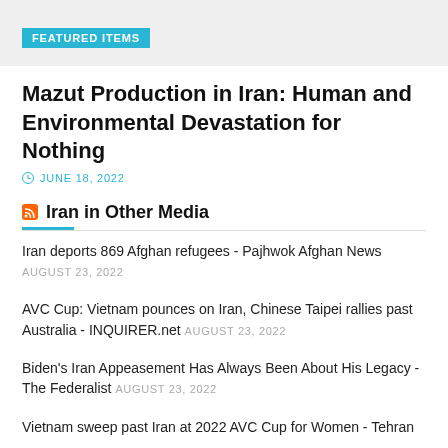FEATURED ITEMS
Mazut Production in Iran: Human and Environmental Devastation for Nothing
JUNE 18, 2022
Iran in Other Media
Iran deports 869 Afghan refugees - Pajhwok Afghan News AUGUST 23, 2022
AVC Cup: Vietnam pounces on Iran, Chinese Taipei rallies past Australia - INQUIRER.net AUGUST 23, 2022
Biden's Iran Appeasement Has Always Been About His Legacy - The Federalist AUGUST 23, 2022
Vietnam sweep past Iran at 2022 AVC Cup for Women - Tehran